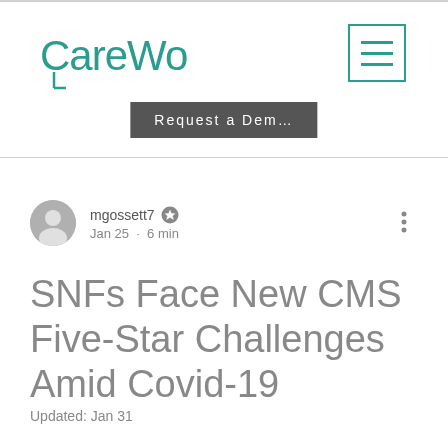CareWork
[Figure (logo): CareWork logo in teal color with stylized C and stem]
[Figure (other): Hamburger menu icon — three horizontal lines inside a teal bordered square]
Request a Dem…
mgossett7 · Jan 25 · 6 min
SNFs Face New CMS Five-Star Challenges Amid Covid-19
Updated: Jan 31